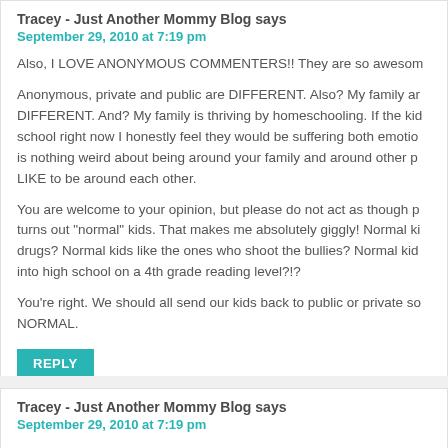Tracey - Just Another Mommy Blog says
September 29, 2010 at 7:19 pm
Also, I LOVE ANONYMOUS COMMENTERS!! They are so awesome,
Anonymous, private and public are DIFFERENT. Also? My family and DIFFERENT. And? My family is thriving by homeschooling. If the kids school right now I honestly feel they would be suffering both emotionally. There is nothing weird about being around your family and around other people who LIKE to be around each other.
You are welcome to your opinion, but please do not act as though public school turns out "normal" kids. That makes me absolutely giggly! Normal kids who do drugs? Normal kids like the ones who shoot the bullies? Normal kids who go into high school on a 4th grade reading level?!?
You're right. We should all send our kids back to public or private school. So NORMAL.
REPLY
Tracey - Just Another Mommy Blog says
September 29, 2010 at 7:19 pm